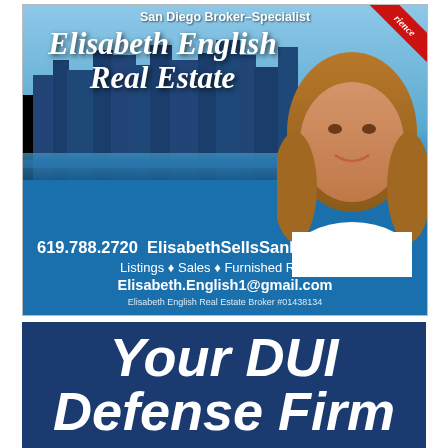[Figure (illustration): Real estate advertisement for Elisabeth English Real Estate featuring a San Diego skyline background, agent photo, contact info: 619.788.2720, ElisabethSellsSanDiego.com, Listings, Sales, Furnished Rentals, Elisabeth.English1@gmail.com, license #01438134]
[Figure (illustration): DUI Defense Firm advertisement with dark blue background and bold white italic text reading 'Your DUI Defense Firm']